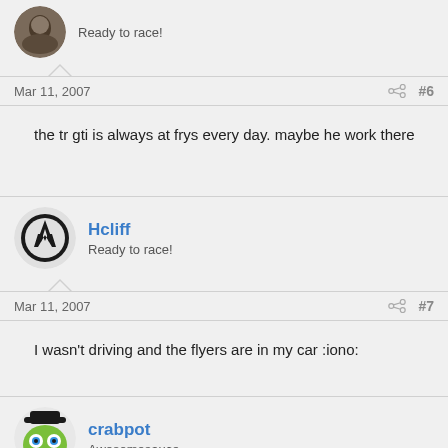Ready to race!
Mar 11, 2007  #6
the tr gti is always at frys every day. maybe he work there
Hcliff
Ready to race!
Mar 11, 2007  #7
I wasn't driving and the flyers are in my car :iono:
crabpot
Awesomesauce